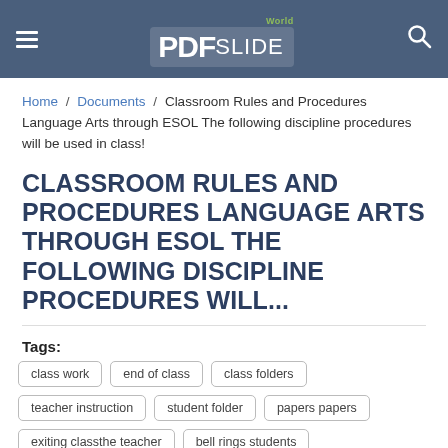PDFslide World
Home / Documents / Classroom Rules and Procedures Language Arts through ESOL The following discipline procedures will be used in class!
CLASSROOM RULES AND PROCEDURES LANGUAGE ARTS THROUGH ESOL THE FOLLOWING DISCIPLINE PROCEDURES WILL...
Tags:
class work
end of class
class folders
teacher instruction
student folder
papers papers
exiting classthe teacher
bell rings students